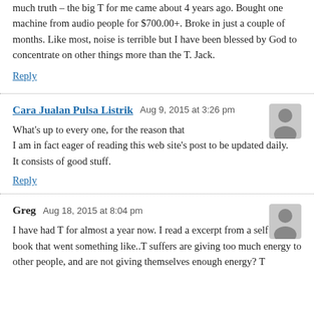much truth – the big T for me came about 4 years ago. Bought one machine from audio people for $700.00+. Broke in just a couple of months. Like most, noise is terrible but I have been blessed by God to concentrate on other things more than the T. Jack.
Reply
Cara Jualan Pulsa Listrik   Aug 9, 2015 at 3:26 pm
What's up to every one, for the reason that I am in fact eager of reading this web site's post to be updated daily. It consists of good stuff.
Reply
Greg   Aug 18, 2015 at 8:04 pm
I have had T for almost a year now. I read a excerpt from a self help book that went something like..T suffers are giving too much energy to other people, and are not giving themselves enough energy? T